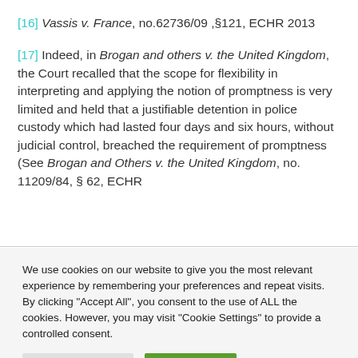[16] Vassis v. France, no.62736/09 ,§121, ECHR 2013
[17] Indeed, in Brogan and others v. the United Kingdom, the Court recalled that the scope for flexibility in interpreting and applying the notion of promptness is very limited and held that a justifiable detention in police custody which had lasted four days and six hours, without judicial control, breached the requirement of promptness (See Brogan and Others v. the United Kingdom, no. 11209/84, § 62, ECHR
We use cookies on our website to give you the most relevant experience by remembering your preferences and repeat visits. By clicking "Accept All", you consent to the use of ALL the cookies. However, you may visit "Cookie Settings" to provide a controlled consent.